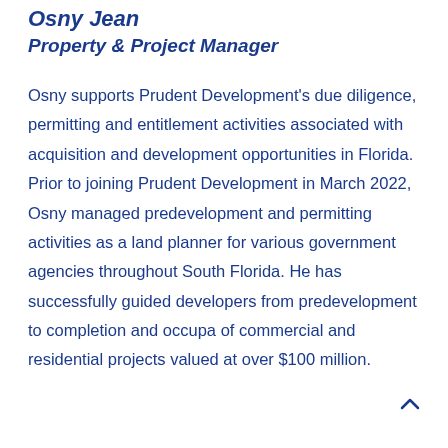Osny Jean
Property & Project Manager
Osny supports Prudent Development's due diligence, permitting and entitlement activities associated with acquisition and development opportunities in Florida. Prior to joining Prudent Development in March 2022, Osny managed predevelopment and permitting activities as a land planner for various government agencies throughout South Florida. He has successfully guided developers from predevelopment to completion and occupa of commercial and residential projects valued at over $100 million.